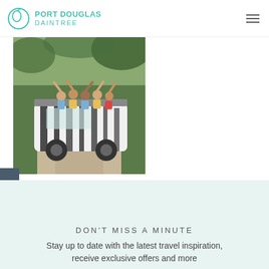PORT DOUGLAS DAINTREE
[Figure (photo): Group of tourists waving from an open-top zebra-striped 4WD vehicle on a dirt track in a rainforest]
Daintree Discovery Tours »
FILTER BUSINESSES
[Figure (illustration): Decorative green curved lines / swirl graphic]
DON'T MISS A MINUTE
Stay up to date with the latest travel inspiration, receive exclusive offers and more